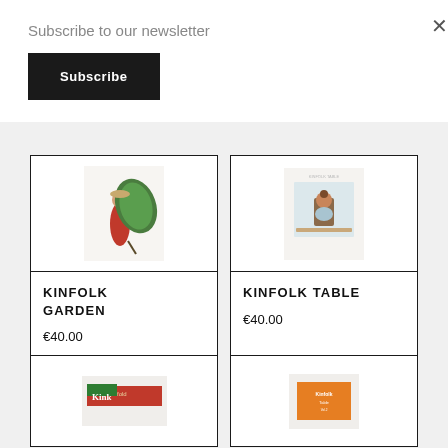Subscribe to our newsletter
Subscribe
×
[Figure (photo): Book cover: Kinfolk Garden, showing a person in a red outfit with a large tropical leaf]
KINFOLK GARDEN
€40.00
[Figure (photo): Book cover: Kinfolk Table, showing a child sitting at a table viewed from behind]
KINFOLK TABLE
€40.00
[Figure (photo): Partially visible book cover at bottom left with red and green design]
[Figure (photo): Partially visible book cover at bottom right with orange cover]